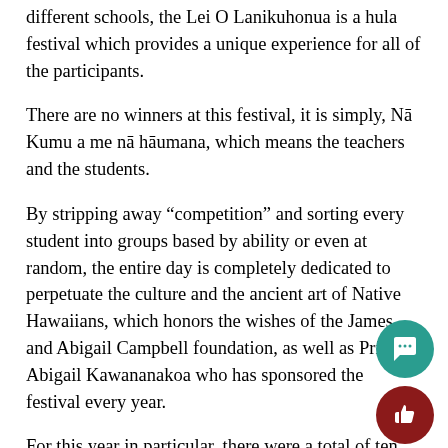different schools, the Lei O Lanikuhonua is a hula festival which provides a unique experience for all of the participants.
There are no winners at this festival, it is simply, Nā Kumu a me nā hāumana, which means the teachers and the students.
By stripping away “competition” and sorting every student into groups based by ability or even at random, the entire day is completely dedicated to perpetuate the culture and the ancient art of Native Hawaiians, which honors the wishes of the James and Abigail Campbell foundation, as well as Princess Abigail Kawananakoa who has sponsored the festival every year.
For this year in particular, there were a total of ten notable Kumu Hula who assisted in the organization and instruction of Lei O Lanikuhonua.
Nanakuli High and Intermediate’s own Michelle Piper w...